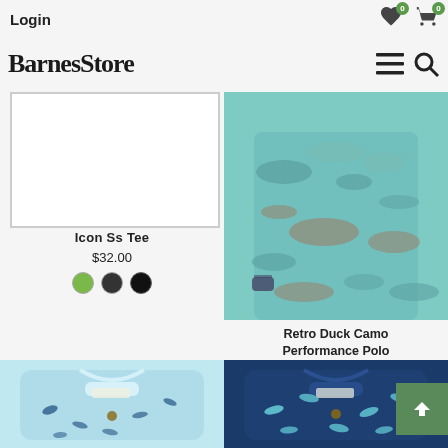Login | ♥0 | 🛒0 | BarnesStore ☰ 🔍
[Figure (photo): White placeholder product image box with border]
Icon Ss Tee
$32.00
[Figure (photo): Color swatches: green, dark gray/black, black]
[Figure (photo): Man wearing teal/blue duck camo patterned short sleeve performance polo shirt]
Retro Duck Camo Performance Polo
$54.00
[Figure (photo): Folded light blue shirt with bird/duck pattern]
[Figure (photo): Folded navy blue shirt with light blue bird/fish pattern]